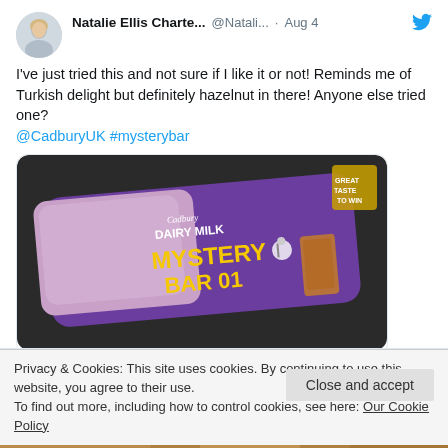Natalie Ellis Charte... @Natali... · Aug 4
I've just tried this and not sure if I like it or not! Reminds me of Turkish delight but definitely hazelnut in there! Anyone else tried one? @CadburyUK #mysterybar
[Figure (photo): Photo of a Cadbury Dairy Milk Mystery Bar 01 chocolate bar in its purple and light-colored wrapper, placed on a dark surface.]
Privacy & Cookies: This site uses cookies. By continuing to use this website, you agree to their use.
To find out more, including how to control cookies, see here: Our Cookie Policy
Close and accept
[Figure (photo): Partial bottom image strip showing a warm-toned photo.]